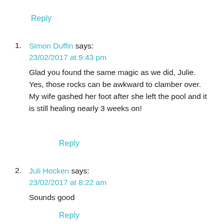Reply
1. Simon Duffin says:
23/02/2017 at 9:43 pm
Glad you found the same magic as we did, Julie. Yes, those rocks can be awkward to clamber over. My wife gashed her foot after she left the pool and it is still healing nearly 3 weeks on!
Reply
2. Juli Hocken says:
23/02/2017 at 8:22 am
Sounds good
Reply